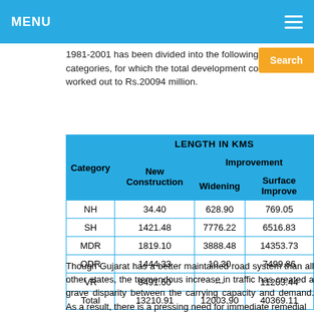MENU
1981-2001 has been divided into the following categories, for which the total development cost worked out to Rs.20094 million.
| Category | New Construction | Widening | Surface Improvement |
| --- | --- | --- | --- |
| NH | 34.40 | 628.90 | 769.05 |
| SH | 1421.48 | 7776.22 | 6516.83 |
| MDR | 1819.10 | 3888.48 | 14353.73 |
| ODR | 1444.33 | 10.30 | 7499.86 |
| VR | 8491.60 | --- | 11203.44 |
| Total | 13210.91 | 12003.90 | 40369.11 |
Though Gujarat has a better maintained road system than all other states, the tremendous increase in traffic has created a grave disparity between the carrying capacity and demand. As a result, there is a pressing need for immediate remedial